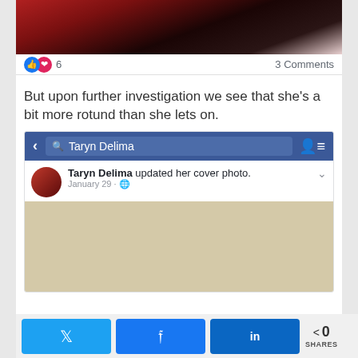[Figure (photo): Cropped close-up photo of a person's face with dark hair and red background elements, partially visible at top of page]
6  3 Comments
But upon further investigation we see that she's a bit more rotund than she lets on.
[Figure (screenshot): Facebook mobile app screenshot showing a search for 'Taryn Delima' with a post header: 'Taryn Delima updated her cover photo. January 29 ·' with a globe icon, and a cover photo image below]
0 SHARES